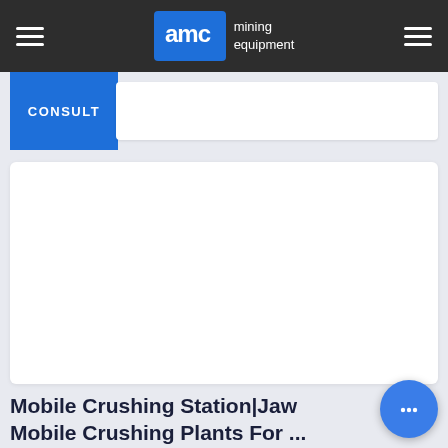AMC mining equipment
CONSULT
[Figure (photo): White rectangular image area showing a mobile crushing station product image (content not visible/blank)]
Mobile Crushing Station|Jaw Mobile Crushing Plants For ...